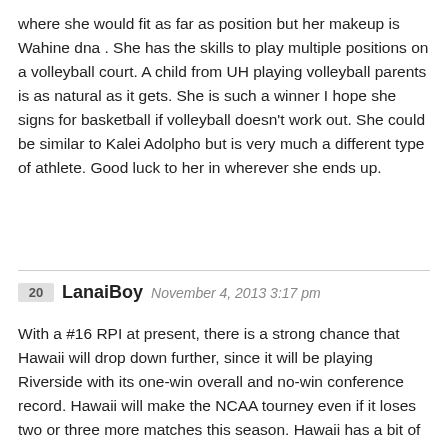where she would fit as far as position but her makeup is Wahine dna . She has the skills to play multiple positions on a volleyball court. A child from UH playing volleyball parents is as natural as it gets. She is such a winner I hope she signs for basketball if volleyball doesn't work out. She could be similar to Kalei Adolpho but is very much a different type of athlete. Good luck to her in wherever she ends up.
20 LanaiBoy November 4, 2013 3:17 pm
With a #16 RPI at present, there is a strong chance that Hawaii will drop down further, since it will be playing Riverside with its one-win overall and no-win conference record. Hawaii will make the NCAA tourney even if it loses two or three more matches this season. Hawaii has a bit of leeway, since 64 teams make the NCAA field and these possible losses will still result in a RPI in the